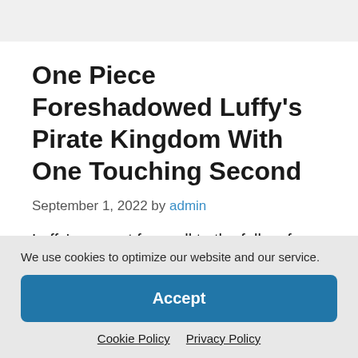One Piece Foreshadowed Luffy's Pirate Kingdom With One Touching Second
September 1, 2022 by admin
Luffy's newest farewell to the folks of Wano hearkens again to an iconic second from
We use cookies to optimize our website and our service.
Accept
Cookie Policy  Privacy Policy